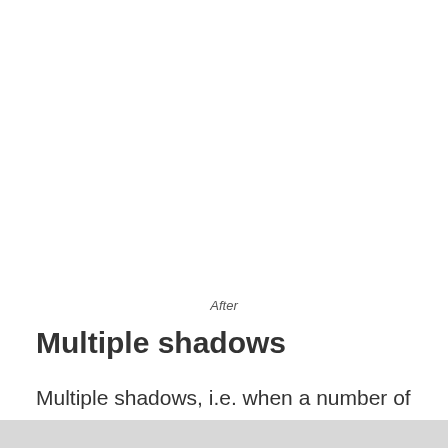After
Multiple shadows
Multiple shadows, i.e. when a number of shadows overlap each other, also put a strain on the eyes that shouldn't be underestimated. Let's imagine a